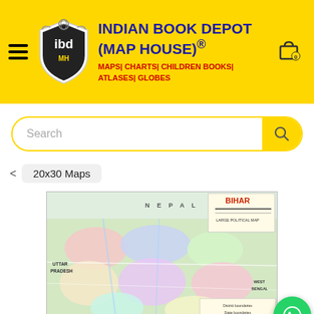INDIAN BOOK DEPOT (MAP HOUSE)® | MAPS| CHARTS| CHILDREN BOOKS| ATLASES| GLOBES
Search
< 20x30 Maps
[Figure (map): Map of Bihar state showing districts, neighboring states (Nepal, Uttar Pradesh, West Bengal), roads, rivers with legend. Title: BIHAR. Large colorful political map.]